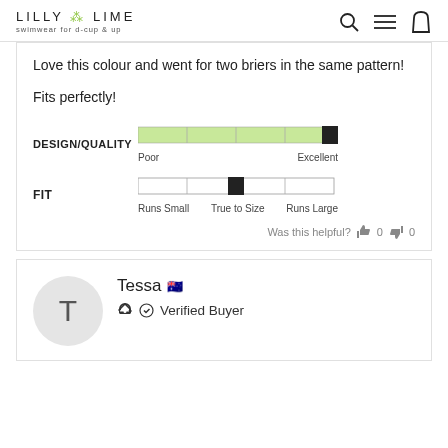LILLY & LIME swimwear for d-cup & up
Love this colour and went for two briers in the same pattern!

Fits perfectly!
[Figure (infographic): DESIGN/QUALITY rating bar: fully filled green bar from Poor to Excellent with black square at end. FIT rating bar: empty bar with black square indicator at True to Size position.]
Was this helpful? 👍 0 👎 0
Tessa 🇦🇺 Verified Buyer